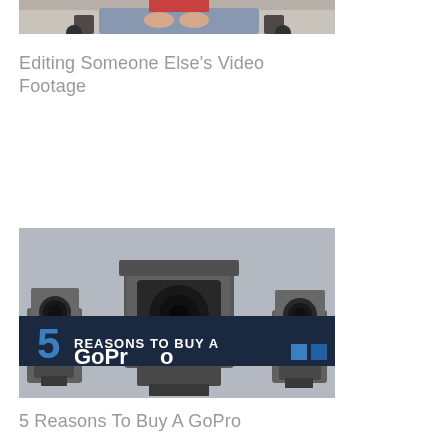[Figure (photo): Partial photo of a person sitting, cropped at the top of the page]
Editing Someone Else's Video Footage
[Figure (photo): Thumbnail image showing GoPro cameras with text banner reading '5 REASONS TO BUY A GoPro']
5 Reasons To Buy A GoPro